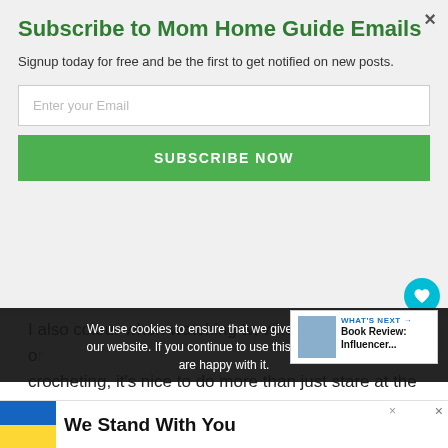Subscribe to Mom Home Guide Emails
Signup today for free and be the first to get notified on new posts.
Enter your Email
SUBSCRIBE NOW
looking forward to them. It's just hard not to look ahead and start a pretty picture I've seen for a few weeks time!
I also colour when watching tv, when I'm not knitting or crocheting, it's nice to do more than just stare at the
We use cookies to ensure that we give you the best experience on our website. If you continue to use this site we will assume that you are happy with it.
WHAT'S NEXT → Book Review: Influencer...
[Figure (other): Ukraine flag colored advertisement banner reading 'We Stand With You']